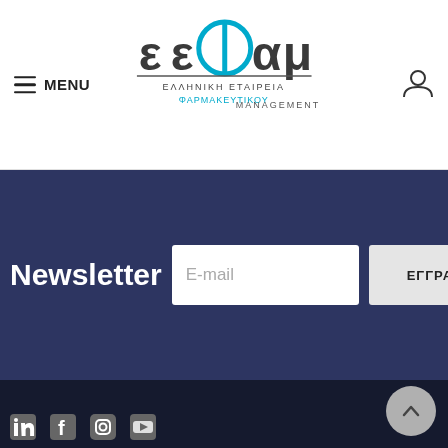[Figure (logo): ΕΕΦΑΜ logo - Ελληνική Εταιρεία Φαρμακευτικού Management with circular symbol icons]
≡ MENU
Newsletter
E-mail
ΕΓΓΡΑΦΗ
[Figure (illustration): Dark navy background section with social media icons (LinkedIn, Facebook, Instagram, YouTube) at bottom left and a back-to-top arrow button at bottom right]